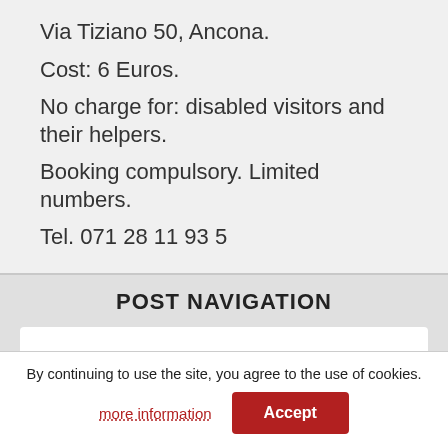Via Tiziano 50, Ancona.
Cost: 6 Euros.
No charge for: disabled visitors and their helpers.
Booking compulsory. Limited numbers.
Tel. 071 28 11 93 5
POST NAVIGATION
The sanctuary of Loreto – the non-sighted try their hand
By continuing to use the site, you agree to the use of cookies.
more information
Accept